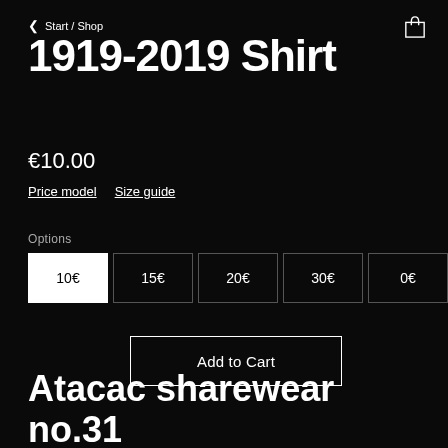< Start / Shop
1919-2019 Shirt
€10.00
Price model   Size guide
Options
10€  15€  20€  30€  0€
Add to Cart
Atacac sharewear no.31